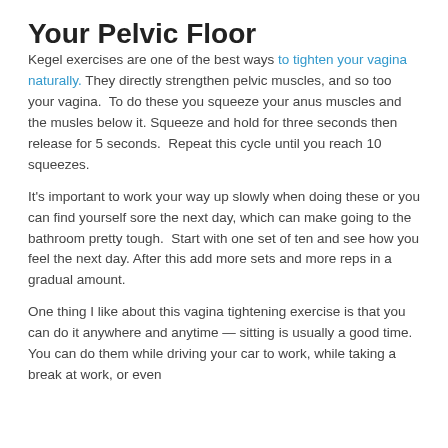Your Pelvic Floor
Kegel exercises are one of the best ways to tighten your vagina naturally. They directly strengthen pelvic muscles, and so too your vagina. To do these you squeeze your anus muscles and the musles below it. Squeeze and hold for three seconds then release for 5 seconds. Repeat this cycle until you reach 10 squeezes.
It's important to work your way up slowly when doing these or you can find yourself sore the next day, which can make going to the bathroom pretty tough. Start with one set of ten and see how you feel the next day. After this add more sets and more reps in a gradual amount.
One thing I like about this vagina tightening exercise is that you can do it anywhere and anytime — sitting is usually a good time. You can do them while driving your car to work, while taking a break at work, or even